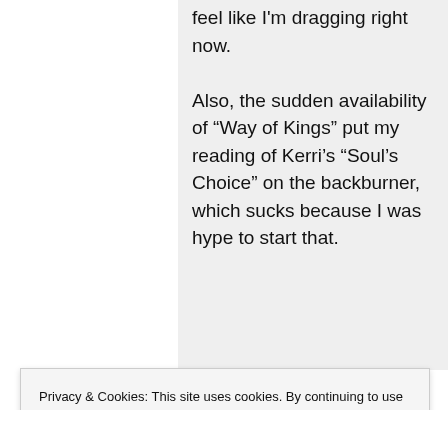feel like I'm dragging right now.

Also, the sudden availability of “Way of Kings” put my reading of Kerri’s “Soul’s Choice” on the backburner, which sucks because I was hype to start that.
Privacy & Cookies: This site uses cookies. By continuing to use this website, you agree to their use.
To find out more, including how to control cookies, see here: Cookie Policy
Close and accept